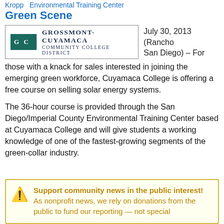Kropp  Environmental Training Center
Green Scene
[Figure (logo): Grossmont-Cuyamaca Community College District logo with teal GC icon and text]
July 30, 2013 (Rancho San Diego) – For those with a knack for sales interested in joining the emerging green workforce, Cuyamaca College is offering a free course on selling solar energy systems.
The 36-hour course is provided through the San Diego/Imperial County Environmental Training Center based at Cuyamaca College and will give students a working knowledge of one of the fastest-growing segments of the green-collar industry.
Support community news in the public interest! As nonprofit news, we rely on donations from the public to fund our reporting — not special